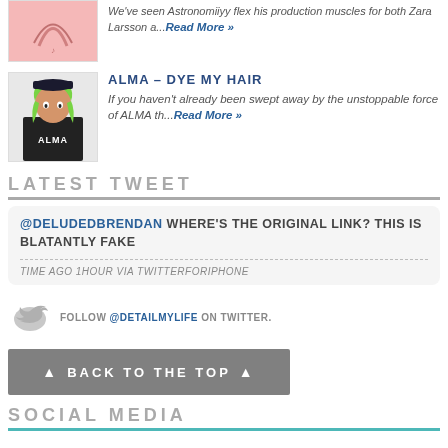[Figure (photo): Pink illustrated thumbnail of an artist]
We've seen Astronomiiyy flex his production muscles for both Zara Larsson a...Read More »
[Figure (photo): Photo of ALMA with green hair and dark jacket]
ALMA–DYE MY HAIR
If you haven't already been swept away by the unstoppable force of ALMA th...Read More »
LATEST TWEET
@DELUDEDBRENDAN WHERE'S THE ORIGINAL LINK? THIS IS BLATANTLY FAKE
TIME AGO 1HOUR VIA TWITTERFORIPHONE
FOLLOW @DETAILMYLIFE ON TWITTER.
▲ BACK TO THE TOP ▲
SOCIAL MEDIA